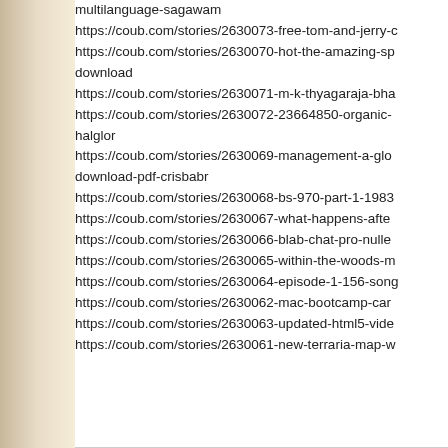multilanguage-sagawam
https://coub.com/stories/2630073-free-tom-and-jerry-c
https://coub.com/stories/2630070-hot-the-amazing-sp download
https://coub.com/stories/2630071-m-k-thyagaraja-bha
https://coub.com/stories/2630072-23664850-organic- halglor
https://coub.com/stories/2630069-management-a-glo download-pdf-crisbabr
https://coub.com/stories/2630068-bs-970-part-1-1983
https://coub.com/stories/2630067-what-happens-afte
https://coub.com/stories/2630066-blab-chat-pro-nulle
https://coub.com/stories/2630065-within-the-woods-m
https://coub.com/stories/2630064-episode-1-156-song
https://coub.com/stories/2630062-mac-bootcamp-car
https://coub.com/stories/2630063-updated-html5-vide
https://coub.com/stories/2630061-new-terraria-map-w